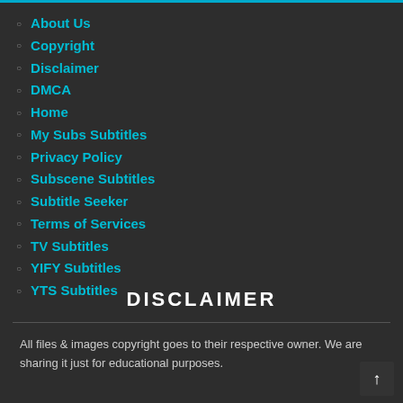About Us
Copyright
Disclaimer
DMCA
Home
My Subs Subtitles
Privacy Policy
Subscene Subtitles
Subtitle Seeker
Terms of Services
TV Subtitles
YIFY Subtitles
YTS Subtitles
DISCLAIMER
All files & images copyright goes to their respective owner. We are sharing it just for educational purposes.